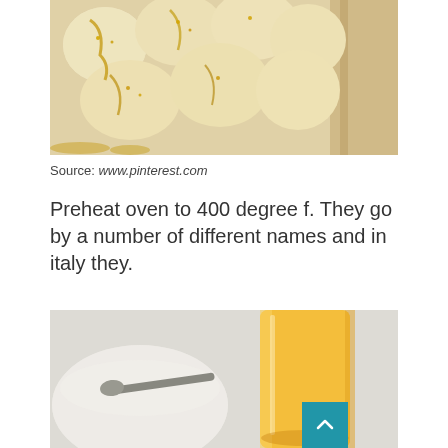[Figure (photo): Baked bread rolls or biscuits drizzled with honey/glaze arranged in a wooden tray, viewed from above]
Source: www.pinterest.com
Preheat oven to 400 degree f. They go by a number of different names and in italy they.
[Figure (photo): A white bowl with a spoon and a tall glass of orange juice or beer on a light surface]